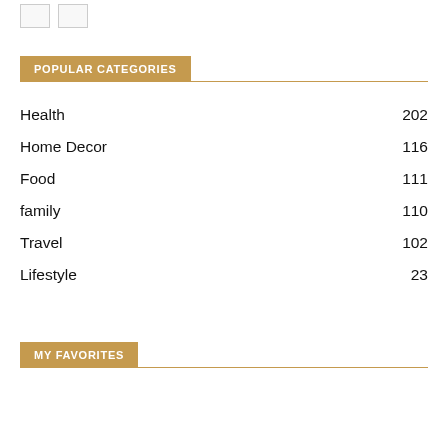[Figure (other): Two small icon/checkbox boxes in the top-left corner]
POPULAR CATEGORIES
Health 202
Home Decor 116
Food 111
family 110
Travel 102
Lifestyle 23
MY FAVORITES